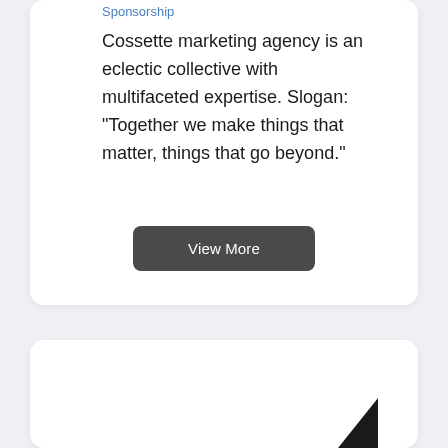Sponsorship
Cossette marketing agency is an eclectic collective with multifaceted expertise. Slogan: "Together we make things that matter, things that go beyond."
[Figure (other): View More button - dark grey rounded rectangle button with white text]
[Figure (other): White card at bottom of page with a small dark logo/icon visible in bottom right corner]